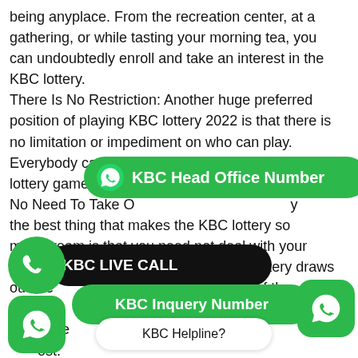being anyplace. From the recreation center, at a gathering, or while tasting your morning tea, you can undoubtedly enroll and take an interest in the KBC lottery. There Is No Restriction: Another huge preferred position of playing KBC lottery 2022 is that there is no limitation or impediment on who can play. Everybody can play this excessively energizing lottery game by enrolling on the w...
[Figure (infographic): Green rounded rectangle banner with WhatsApp-style phone icon and text 'KBC Head Office Number']
No Need To Take O... the best thing that makes the KBC lottery so mainstream is that you need not deal with your tickets in light of the fact that the KBC lottery draws out the ...obile Number of the member Thus, the... ...ing ...ost.
[Figure (infographic): Black rounded rectangle banner with text 'KBC LIVE CALL' and green circle phone icon on the left]
[Figure (infographic): Green rounded rectangle banner with text 'KBC Inquery Number']
[Figure (infographic): White rounded rectangle bubble with text 'KBC Helpline?']
's it... ...C lottery number is easy with us. However, you must be aware of fraud and that's the